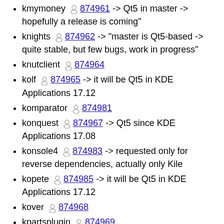kmymoney 874961 -> Qt5 in master -> hopefully a release is coming"
knights 874962 -> "master is Qt5-based -> quite stable, but few bugs, work in progress"
knutclient 874964
kolf 874965 -> it will be Qt5 in KDE Applications 17.12
komparator 874981
konquest 874967 -> Qt5 since KDE Applications 17.08
konsole4 874983 -> requested only for reverse dependencies, actually only Kile
kopete 874985 -> it will be Qt5 in KDE Applications 17.12
kover 874968
kpartsplugin 874969
kppp 874970 -> its fate will be defined in KDE Applications 17.12